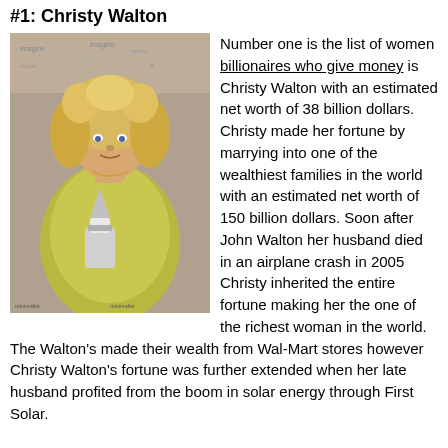#1: Christy Walton
[Figure (photo): Photo of Christy Walton, a woman with curly blonde hair wearing a yellow-green outfit, holding an award trophy, standing in front of a event backdrop.]
Number one is the list of women billionaires who give money is Christy Walton with an estimated net worth of 38 billion dollars. Christy made her fortune by marrying into one of the wealthiest families in the world with an estimated net worth of 150 billion dollars. Soon after John Walton her husband died in an airplane crash in 2005 Christy inherited the entire fortune making her the one of the richest woman in the world. The Walton's made their wealth from Wal-Mart stores however Christy Walton's fortune was further extended when her late husband profited from the boom in solar energy through First Solar.